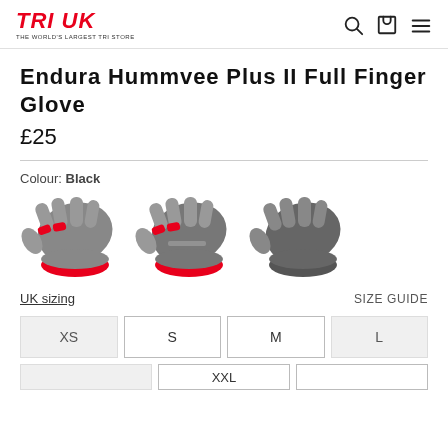TRI UK — THE WORLD'S LARGEST TRI STORE
Endura Hummvee Plus II Full Finger Glove
£25
Colour: Black
[Figure (photo): Three pairs of Endura Hummvee Plus II Full Finger Gloves shown in different color variants — two with red accents and one all black]
UK sizing
SIZE GUIDE
| XS | S | M | L |
| --- | --- | --- | --- |
| XL | XXL | 3XL |
| --- | --- | --- |